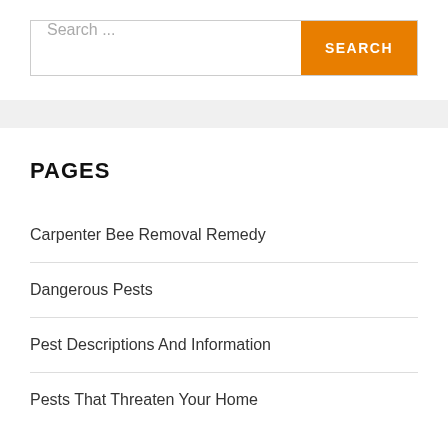[Figure (screenshot): Search bar with text input placeholder 'Search ...' and orange SEARCH button]
PAGES
Carpenter Bee Removal Remedy
Dangerous Pests
Pest Descriptions And Information
Pests That Threaten Your Home